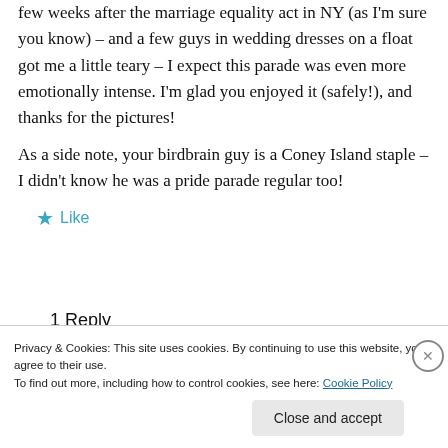few weeks after the marriage equality act in NY (as I'm sure you know) – and a few guys in wedding dresses on a float got me a little teary – I expect this parade was even more emotionally intense. I'm glad you enjoyed it (safely!), and thanks for the pictures!
As a side note, your birdbrain guy is a Coney Island staple – I didn't know he was a pride parade regular too!
★ Like
1 Reply
Privacy & Cookies: This site uses cookies. By continuing to use this website, you agree to their use. To find out more, including how to control cookies, see here: Cookie Policy
Close and accept